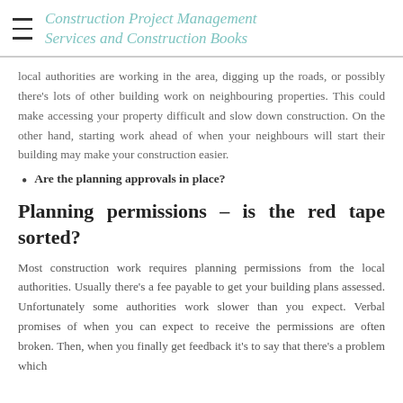Construction Project Management Services and Construction Books
local authorities are working in the area, digging up the roads, or possibly there's lots of other building work on neighbouring properties. This could make accessing your property difficult and slow down construction. On the other hand, starting work ahead of when your neighbours will start their building may make your construction easier.
Are the planning approvals in place?
Planning permissions – is the red tape sorted?
Most construction work requires planning permissions from the local authorities. Usually there's a fee payable to get your building plans assessed. Unfortunately some authorities work slower than you expect. Verbal promises of when you can expect to receive the permissions are often broken. Then, when you finally get feedback it's to say that there's a problem which